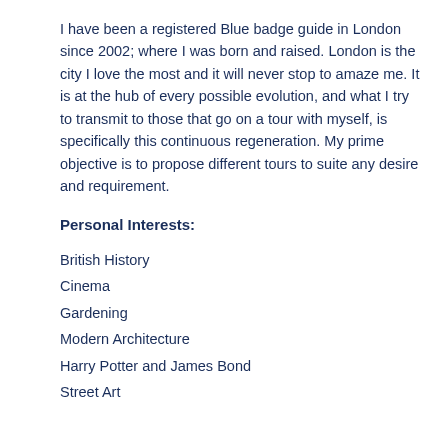I have been a registered Blue badge guide in London since 2002; where I was born and raised. London is the city I love the most and it will never stop to amaze me. It is at the hub of every possible evolution, and what I try to transmit to those that go on a tour with myself, is specifically this continuous regeneration. My prime objective is to propose different tours to suite any desire and requirement.
Personal Interests:
British History
Cinema
Gardening
Modern Architecture
Harry Potter and James Bond
Street Art